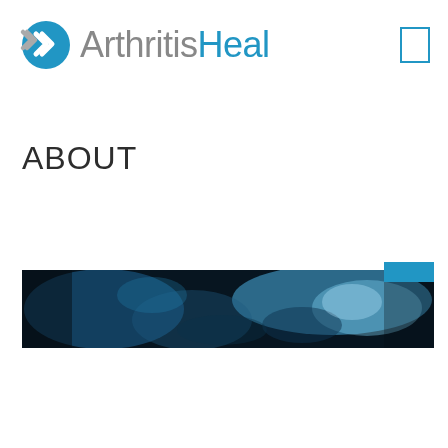[Figure (logo): ArthritisHeal logo with blue joint icon and text, gray 'Arthritis' and blue 'Heal']
ABOUT
[Figure (photo): Dark blue medical/xray style banner image, panoramic strip showing blurred blue tones suggestive of joint or medical imaging]